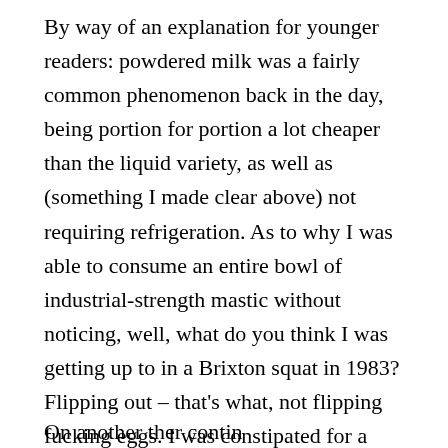By way of an explanation for younger readers: powdered milk was a fairly common phenomenon back in the day, being portion for portion a lot cheaper than the liquid variety, as well as (something I made clear above) not requiring refrigeration. As to why I was able to consume an entire bowl of industrial-strength mastic without noticing, well, what do you think I was getting up to in a Brixton squat in 1983? Flipping out – that's what, not flipping fucking eggs. I was constipated for a month, which was something of a blessing, as it cut my food bills significantly.
On another topic, a continuation on the...